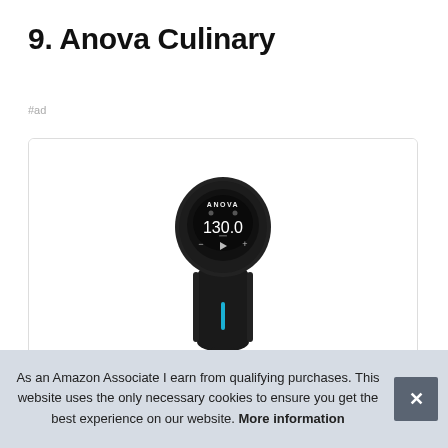9. Anova Culinary
#ad
[Figure (photo): Anova Culinary sous vide precision cooker device — black cylindrical device with circular display showing 130.0, ANOVA branding, blue LED indicator strip, control buttons (minus, play, plus)]
As an Amazon Associate I earn from qualifying purchases. This website uses the only necessary cookies to ensure you get the best experience on our website. More information